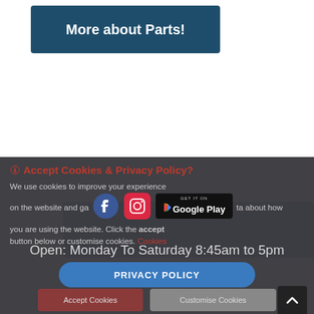More about Parts!
[Figure (screenshot): Gray content placeholder box area visible behind cookie overlay]
🛈 Accept Cookies & Privacy Policy?
We use cookies to improve your experience on the website and gather data about how you are using the website. Click the accept button below or customise cookies. Cookies
Open: Monday To Saturday 8:45am to 5pm
PRIVACY POLICY
Accept Cookies
Customise Cookies
TERMS & CONDITIONS